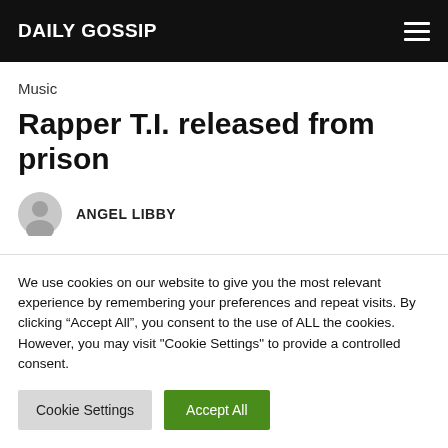DAILY GOSSIP
Music
Rapper T.I. released from prison
ANGEL LIBBY
We use cookies on our website to give you the most relevant experience by remembering your preferences and repeat visits. By clicking “Accept All”, you consent to the use of ALL the cookies. However, you may visit "Cookie Settings" to provide a controlled consent.